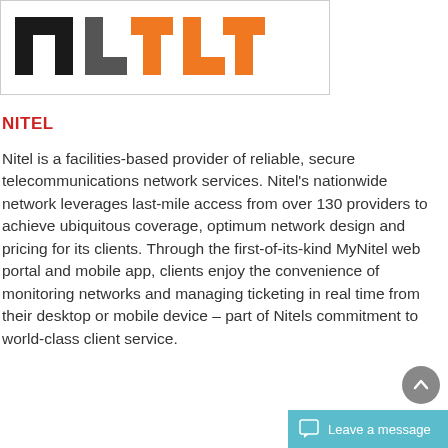[Figure (logo): Nitel logo with black text 'nit' and orange text 'tel' inside a bordered box]
NITEL
Nitel is a facilities-based provider of reliable, secure telecommunications network services. Nitel's nationwide network leverages last-mile access from over 130 providers to achieve ubiquitous coverage, optimum network design and pricing for its clients. Through the first-of-its-kind MyNitel web portal and mobile app, clients enjoy the convenience of monitoring networks and managing ticketing in real time from their desktop or mobile device – part of Nitels commitment to world-class client service.